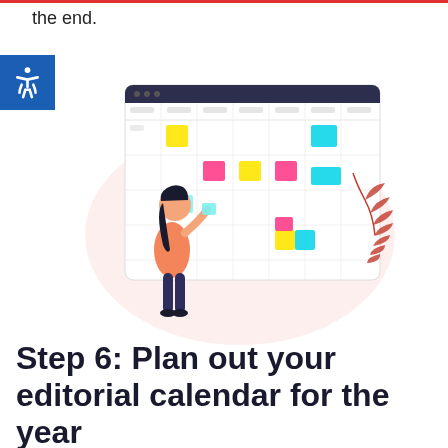the end.
[Figure (illustration): Woman standing next to a calendar/planning board with colorful sticky notes (pink, yellow, cyan). The illustration shows an editorial calendar interface with a grid layout. A decorative red plant branch is visible on the right side.]
Step 6: Plan out your editorial calendar for the year